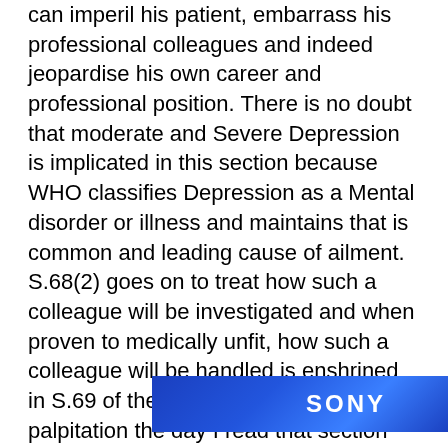can imperil his patient, embarrass his professional colleagues and indeed jeopardise his own career and professional position. There is no doubt that moderate and Severe Depression is implicated in this section because WHO classifies Depression as a Mental disorder or illness and maintains that is common and leading cause of ailment. S.68(2) goes on to treat how such a colleague will be investigated and when proven to medically unfit, how such a colleague will be handled is enshrined in S.69 of the Code. I nearly developed palpitation the day I read that section and I was not surprised why the likes of Dr Ekpo Etien Inyang, Dr Allwell Orji and others deliberately took their lives without revealing their health conditions to their colleagues who might report them to MDCN investigating panel. [advertisement overlay] e in the sa
[Figure (other): Sony advertisement banner overlay covering part of the text at the bottom of the page]